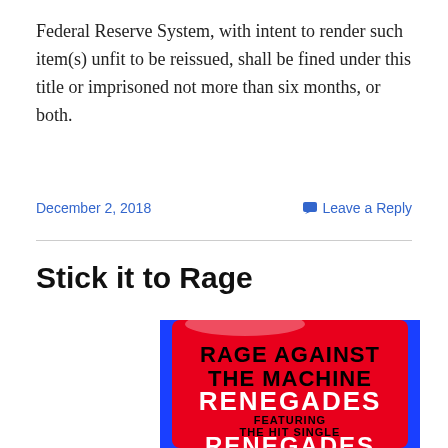Federal Reserve System, with intent to render such item(s) unfit to be reissued, shall be fined under this title or imprisoned not more than six months, or both.
December 2, 2018    Leave a Reply
Stick it to Rage
[Figure (photo): Album cover for Rage Against the Machine – Renegades, featuring text: RAGE AGAINST THE MACHINE, RENEGADES, FEATURING THE HIT SINGLE, RENEGADES OF FUNK. Red background with blue border, black and white text.]